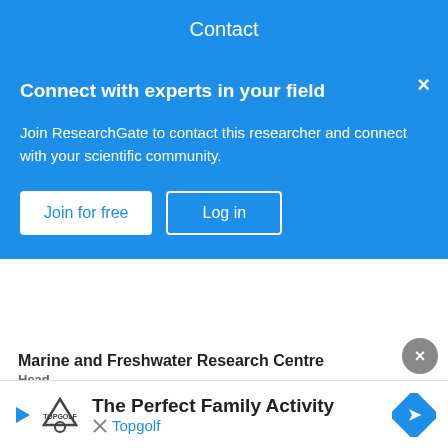Contact
Connect with experts in your field
Join ResearchGate to contact this researcher and connect with your scientific community.
Join for free | Log in
Marine and Freshwater Research Centre
Head
Deirdre Brophy
Galway-Mayo Institute of Technology
Members (56)
Deirdre Brophy Advertisement
Galway-Mayo Institute of Technology
The Perfect Family Activity
Topgolf